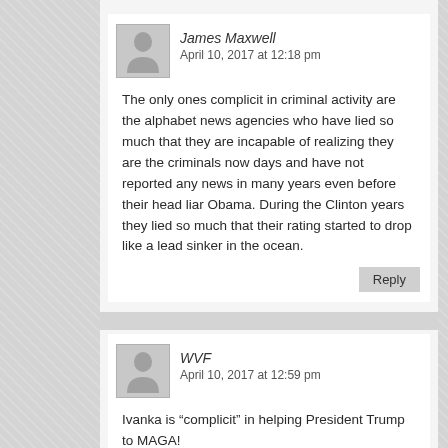James Maxwell
April 10, 2017 at 12:18 pm
The only ones complicit in criminal activity are the alphabet news agencies who have lied so much that they are incapable of realizing they are the criminals now days and have not reported any news in many years even before their head liar Obama. During the Clinton years they lied so much that their rating started to drop like a lead sinker in the ocean.
Reply
WVF
April 10, 2017 at 12:59 pm
Ivanka is “complicit” in helping President Trump to MAGA!
Reply